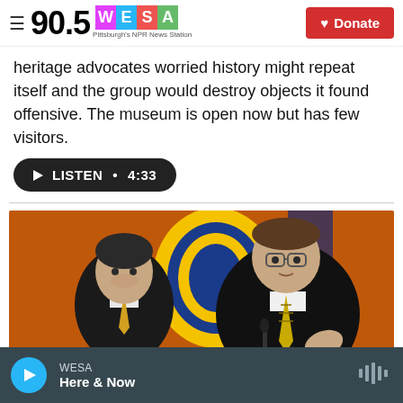90.5 WESA Pittsburgh's NPR News Station | Donate
heritage advocates worried history might repeat itself and the group would destroy objects it found offensive. The museum is open now but has few visitors.
[Figure (other): LISTEN button with play icon and duration 4:33]
[Figure (photo): Two men in dark suits seated at a table with a yellow and blue emblem/flag in the background. The man on the right is speaking with a microphone and wearing glasses and a patterned tie.]
WESA Here & Now